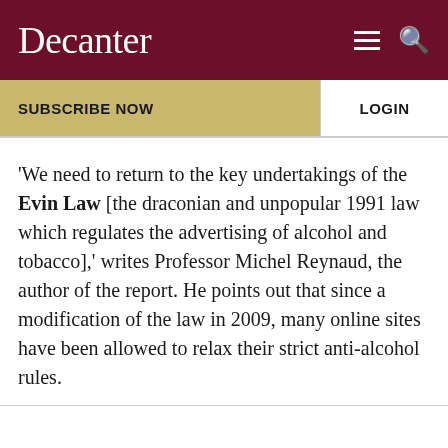Decanter
SUBSCRIBE NOW
LOGIN
'We need to return to the key undertakings of the Evin Law [the draconian and unpopular 1991 law which regulates the advertising of alcohol and tobacco],' writes Professor Michel Reynaud, the author of the report. He points out that since a modification of the law in 2009, many online sites have been allowed to relax their strict anti-alcohol rules.